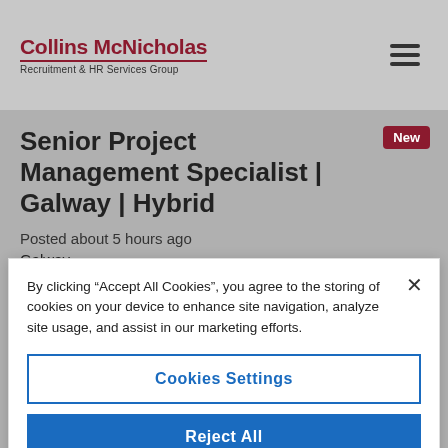Collins McNicholas Recruitment & HR Services Group
Senior Project Management Specialist | Galway | Hybrid
Posted about 5 hours ago
Galway
A permanent opportunity has arisen with a global
By clicking "Accept All Cookies", you agree to the storing of cookies on your device to enhance site navigation, analyze site usage, and assist in our marketing efforts.
Cookies Settings
Reject All